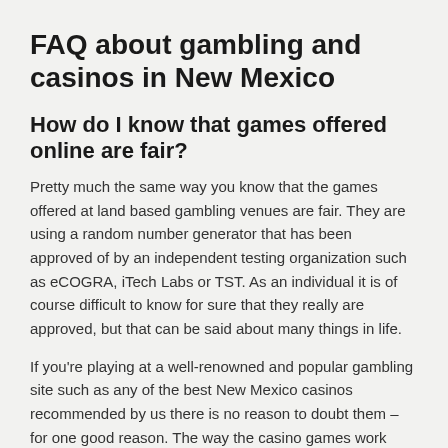FAQ about gambling and casinos in New Mexico
How do I know that games offered online are fair?
Pretty much the same way you know that the games offered at land based gambling venues are fair. They are using a random number generator that has been approved of by an independent testing organization such as eCOGRA, iTech Labs or TST. As an individual it is of course difficult to know for sure that they really are approved, but that can be said about many things in life.
If you're playing at a well-renowned and popular gambling site such as any of the best New Mexico casinos recommended by us there is no reason to doubt them – for one good reason. The way the casino games work they are